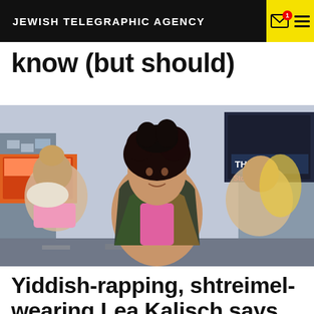JEWISH TELEGRAPHIC AGENCY
know (but should)
[Figure (photo): A woman with curly dark hair in a colorful jacket poses dynamically in Times Square, New York City, with two other women with blonde hair on either side. The background shows Times Square billboards and city streets.]
Yiddish-rapping, shtreimel-wearing Lea Kalisch says she